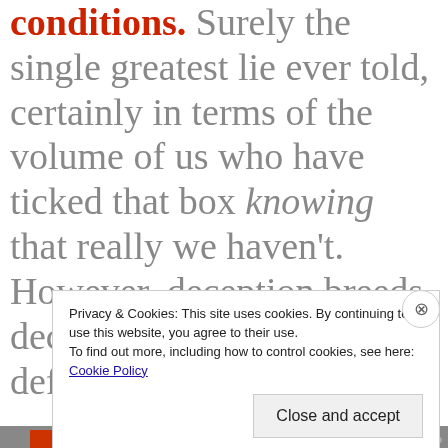conditions. Surely the single greatest lie ever told, certainly in terms of the volume of us who have ticked that box knowing that really we haven't. However, deception breeds deception and with now defunct computer game
Privacy & Cookies: This site uses cookies. By continuing to use this website, you agree to their use.
To find out more, including how to control cookies, see here: Cookie Policy
Close and accept